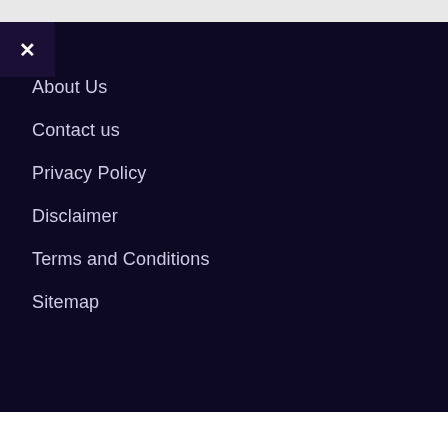About Us
Contact us
Privacy Policy
Disclaimer
Terms and Conditions
Sitemap